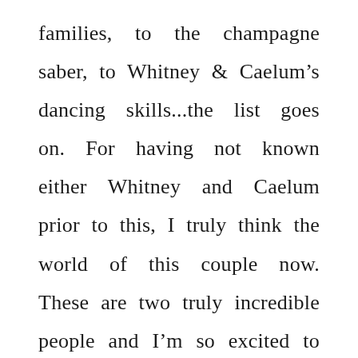families, to the champagne saber, to Whitney & Caelum's dancing skills...the list goes on. For having not known either Whitney and Caelum prior to this, I truly think the world of this couple now. These are two truly incredible people and I'm so excited to watch their life together unfold.

Their ceremony was at the Yacht Cove